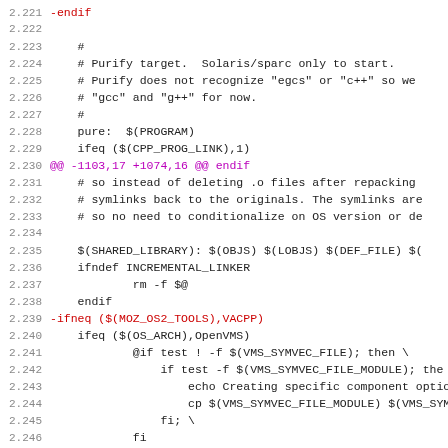[Figure (screenshot): Source code diff showing lines 2.221 through 2.252 of a Makefile, with diff markers and colored syntax highlighting. Red lines indicate removed content, magenta lines indicate diff hunk headers.]